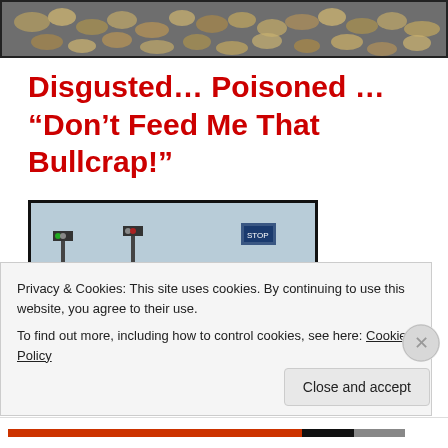[Figure (photo): Top banner image showing a dense pile of metallic/coin-like objects, appears to be a header image for a blog post.]
Disgusted… Poisoned … “Don't Feed Me That Bullcrap!”
[Figure (photo): Photo of heavy traffic with visible exhaust/smog emissions from vehicles, cars in congested traffic with smoke/steam visible.]
Privacy & Cookies: This site uses cookies. By continuing to use this website, you agree to their use.
To find out more, including how to control cookies, see here: Cookie Policy
Close and accept